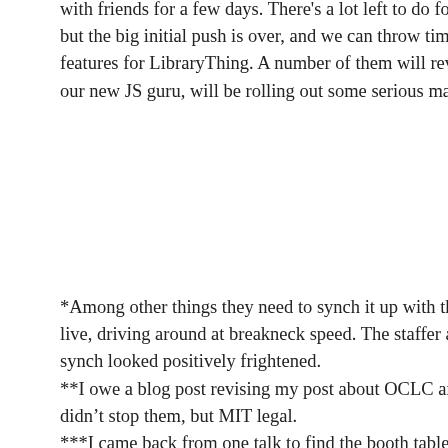with friends for a few days. There's a lot left to do for LibraryThing for Libraries, but the big initial push is over, and we can throw time back into building new features for LibraryThing. A number of them will revolve around JavaScript. Altay, our new JS guru, will be rolling out some serious magic.
*Among other things they need to synch it up with the “slides.” But I do my talks live, driving around at breakneck speed. The staffer assigned to coordinate the synch looked positively frightened.
**I owe a blog post revising my post about OCLC and MIT. Apparently OCLC didn’t stop them, but MIT legal.
***I came back from one talk to find the booth table littered with business cards. I felt like an NBA star at a nightclub.
Conference coverage:
Derik A. Badman (and on Flickr)
Message for Filipino Librarians
John Miedema
Collum’s Column